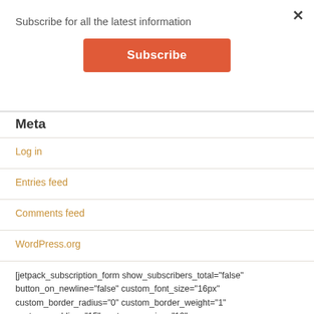Subscribe for all the latest information
[Figure (screenshot): Subscribe button - orange rounded rectangle with white text 'Subscribe']
Meta
Log in
Entries feed
Comments feed
WordPress.org
[jetpack_subscription_form show_subscribers_total="false" button_on_newline="false" custom_font_size="16px" custom_border_radius="0" custom_border_weight="1" custom_padding="15" custom_spacing="10"